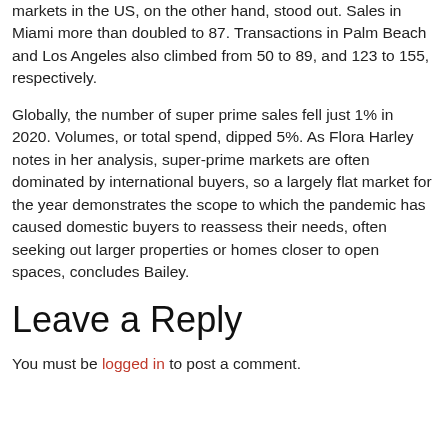markets in the US, on the other hand, stood out. Sales in Miami more than doubled to 87. Transactions in Palm Beach and Los Angeles also climbed from 50 to 89, and 123 to 155, respectively.
Globally, the number of super prime sales fell just 1% in 2020. Volumes, or total spend, dipped 5%. As Flora Harley notes in her analysis, super-prime markets are often dominated by international buyers, so a largely flat market for the year demonstrates the scope to which the pandemic has caused domestic buyers to reassess their needs, often seeking out larger properties or homes closer to open spaces, concludes Bailey.
Leave a Reply
You must be logged in to post a comment.